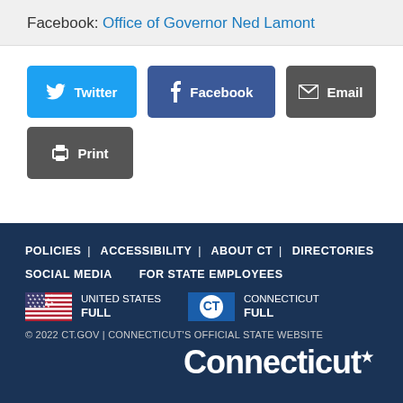Facebook: Office of Governor Ned Lamont
[Figure (infographic): Social share buttons: Twitter (blue), Facebook (dark blue), Email (grey), Print (grey)]
POLICIES | ACCESSIBILITY | ABOUT CT | DIRECTORIES | SOCIAL MEDIA | FOR STATE EMPLOYEES
UNITED STATES FULL | CONNECTICUT FULL
© 2022 CT.GOV | CONNECTICUT'S OFFICIAL STATE WEBSITE
Connecticut